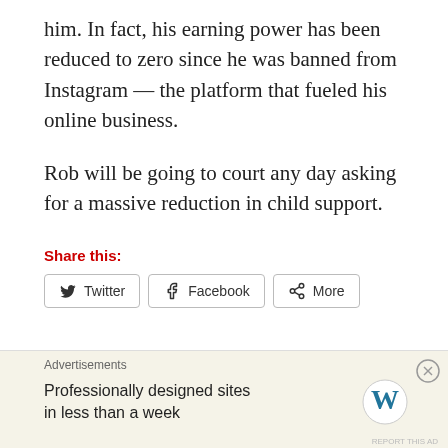him. In fact, his earning power has been reduced to zero since he was banned from Instagram — the platform that fueled his online business.
Rob will be going to court any day asking for a massive reduction in child support.
Share this:
Twitter Facebook More
Advertisements
Professionally designed sites in less than a week